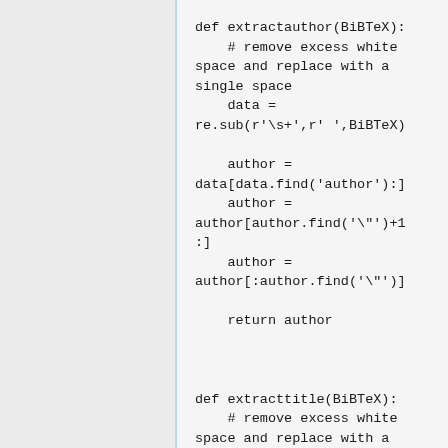def extractauthor(BiBTeX):
    # remove excess white space and replace with a single space
    data = re.sub(r'\s+',r' ',BiBTeX)

    author = data[data.find('author'):]
    author = author[author.find('\"')+1:]
    author = author[:author.find('\"')]

    return author


def extracttitle(BiBTeX):
    # remove excess white space and replace with a single space